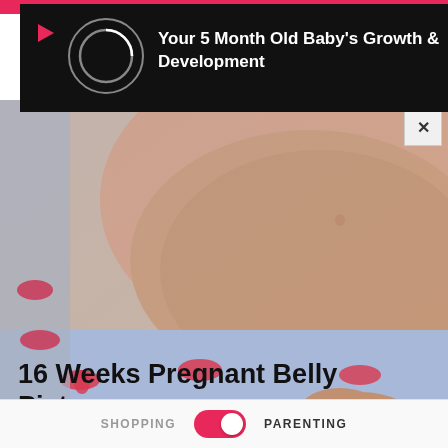[Figure (screenshot): Video overlay card with play button, loading spinner circle, and title 'Your 5 Month Old Baby's Growth & Development' on dark background]
[Figure (photo): Close-up photo of a pregnant woman's exposed belly at 16 weeks, wearing blue patterned underwear with red bows, against gray background]
16 Weeks Pregnant Belly Picture
SHOPPING  PARENTING